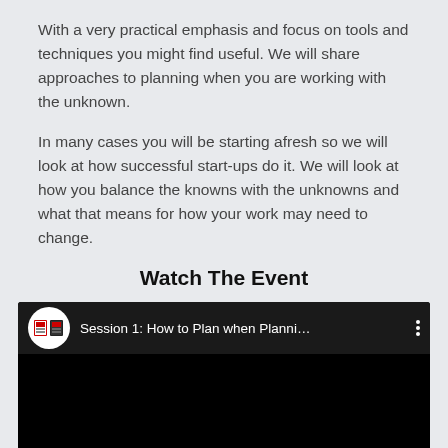With a very practical emphasis and focus on tools and techniques you might find useful. We will share approaches to planning when you are working with the unknown.
In many cases you will be starting afresh so we will look at how successful start-ups do it. We will look at how you balance the knowns with the unknowns and what that means for how your work may need to change.
Watch The Event
[Figure (screenshot): YouTube video thumbnail/player showing 'Session 1: How to Plan when Planni...' with a circular logo on the left and a three-dot menu icon on the right, on a dark background.]